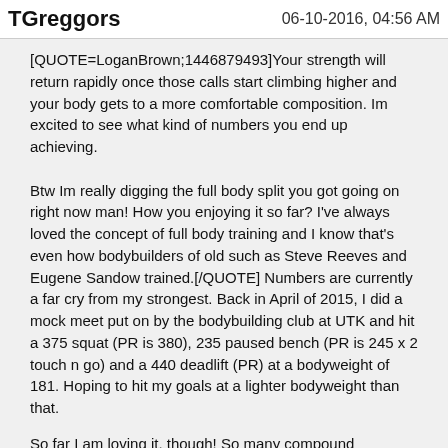TGreggors   06-10-2016, 04:56 AM
[QUOTE=LoganBrown;1446879493]Your strength will return rapidly once those calls start climbing higher and your body gets to a more comfortable composition. Im excited to see what kind of numbers you end up achieving.

Btw Im really digging the full body split you got going on right now man! How you enjoying it so far? I've always loved the concept of full body training and I know that's even how bodybuilders of old such as Steve Reeves and Eugene Sandow trained.[/QUOTE] Numbers are currently a far cry from my strongest. Back in April of 2015, I did a mock meet put on by the bodybuilding club at UTK and hit a 375 squat (PR is 380), 235 paused bench (PR is 245 x 2 touch n go) and a 440 deadlift (PR) at a bodyweight of 181. Hoping to hit my goals at a lighter bodyweight than that.
So far I am loving it, though! So many compound movements. I feel like the amount of "fluff" in my program is substantially decreased. Sessions are exhausting but enjoyable. Kinda worried about giving some things enough stimulation, like I don't have any fly movements for chest and no lateral/rear delt